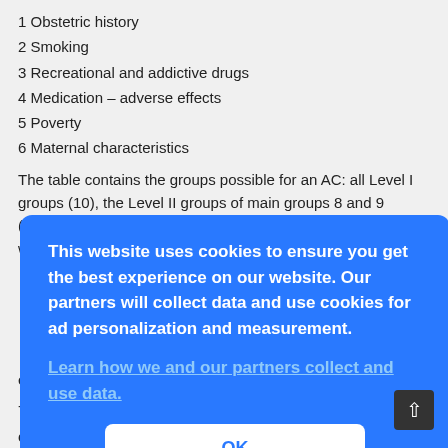1 Obstetric history
2 Smoking
3 Recreational and addictive drugs
4 Medication – adverse effects
5 Poverty
6 Maternal characteristics
The table contains the groups possible for an AC: all Level I groups (10), the Level II groups of main groups 8 and 9
(17 of 94) and column 4 comprises an example of a 3-digit AC with
This website uses cookies to ensure you get the best experience on our website. Our partners will collect data and use cookies for ad personalization and measurement.
Learn how we and our partners collect and use data.
OK
condition should be expected to